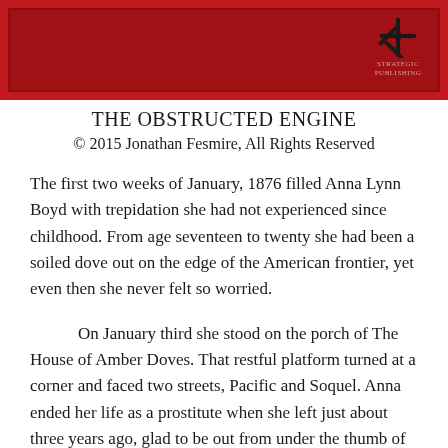[Figure (logo): Red banner header with publisher logo — stylized black cross/flower symbol above small text reading 'STRATEGIC PUBLISHING']
THE OBSTRUCTED ENGINE
© 2015 Jonathan Fesmire, All Rights Reserved
The first two weeks of January, 1876 filled Anna Lynn Boyd with trepidation she had not experienced since childhood. From age seventeen to twenty she had been a soiled dove out on the edge of the American frontier, yet even then she never felt so worried.
On January third she stood on the porch of The House of Amber Doves. That restful platform turned at a corner and faced two streets, Pacific and Soquel. Anna ended her life as a prostitute when she left just about three years ago, glad to be out from under the thumb of the madam, Margarita Fullerton. Funny enough, last August